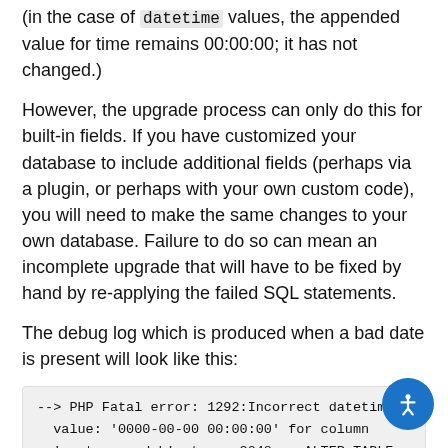(in the case of datetime values, the appended value for time remains 00:00:00; it has not changed.)
However, the upgrade process can only do this for built-in fields. If you have customized your database to include additional fields (perhaps via a plugin, or perhaps with your own custom code), you will need to make the same changes to your own database. Failure to do so can mean an incomplete upgrade that will have to be fixed by hand by re-applying the failed SQL statements.
The debug log which is produced when a bad date is present will look like this:
--> PHP Fatal error: 1292:Incorrect datetime value: '0000-00-00 00:00:00' for column 'customers_dob' at row 3048 :: ALTER TABLE zen_customers ADD tax_exempt tinyint(1) default 0; ==> (as called by)